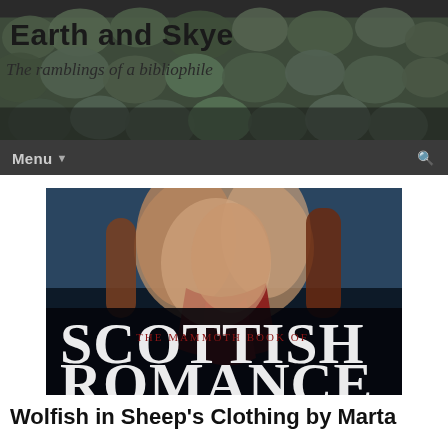Earth and Skye — The ramblings of a bibliophile
[Figure (photo): Book cover of 'The Mammoth Book of Scottish Romance' showing an embracing couple with large decorative text 'SCOTTISH ROMANCE' and subtitle 'The Mammoth Book of']
Wolfish in Sheep's Clothing by Marta